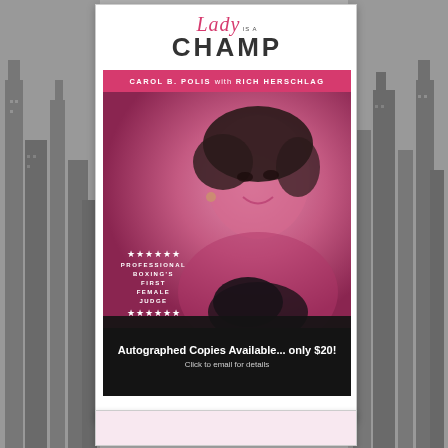[Figure (illustration): Book cover for 'Lady is a Champ' by Carol B. Polis with Rich Herschlag. Shows a woman smiling, with pink/magenta toned photo. Includes stars and text 'Professional Boxing's First Female Judge'. Bottom banner reads 'Autographed Copies Available... only $20! Click to email for details'. Background shows city skyline in grayscale.]
Autographed Copies Available... only $20! Click to email for details